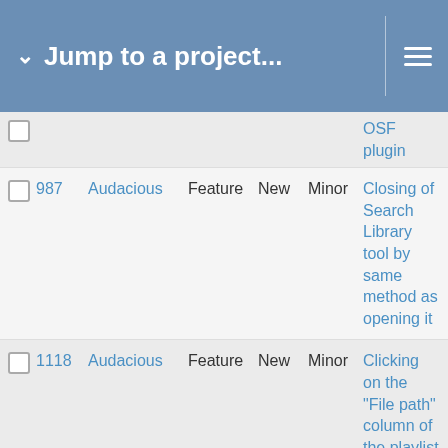Jump to a project...
|  | # | Project | Tracker | Status | Priority | Subject |
| --- | --- | --- | --- | --- | --- | --- |
|  |  |  |  |  |  | OSF plugin |
|  | 987 | Audacious | Feature | New | Minor | Closing of Search Library tool by same method as opening it |
|  | 1118 | Audacious | Feature | New | Minor | Clicking on the "File path" column of the playlist does not sort as expected. |
|  | 1096 | Audacious | Feature | New | Minor | Calculate and show selection stats in the status bar |
|  | 1091 | Audacious | Feature | New | Minor | Built-in lyrics support |
|  | 943 | Audacious | Feature | New | Minor | Being able to add several folders to the library, and arrange that Audacious recognizes symlinks |